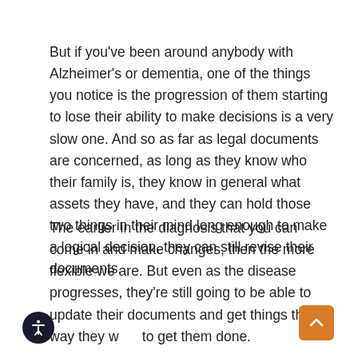But if you've been around anybody with Alzheimer's or dementia, one of the things you notice is the progression of them starting to lose their ability to make decisions is a very slow one. And so as far as legal documents are concerned, as long as they know who their family is, they know in general what assets they have, and they can hold those two things in their mind long enough to make a logical decision, they can still revise their documents.
The earlier in the diagnosis that you can come in and make changes, then the more flexible we are. But even as the disease progresses, they're still going to be able to update their documents and get things the way they want to get them done.